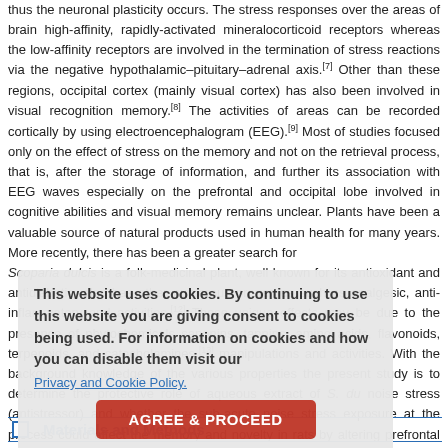thus the neuronal plasticity occurs. The stress responses over the areas of brain high-affinity, rapidly-activated mineralocorticoid receptors whereas the low-affinity receptors are involved in the termination of stress reactions via the negative hypothalamic–pituitary–adrenal axis.[7] Other than these regions, occipital cortex (mainly visual cortex) has also been involved in visual recognition memory.[8] The activities of areas can be recorded cortically by using electroencephalogram (EEG).[9] Most of studies focused only on the effect of stress on the memory and not on the retrieval process, that is, after the storage of information, and further its association with EEG waves especially on the prefrontal and occipital lobe involved in cognitive abilities and visual memory remains unclear. Plants have been a valuable source of natural products used in human health for many years. More recently, there has been a greater search for Scoparia dulcis is a folk-medicinal plant, well known for its antioxidant and antidiabetic, also has other numerous properties such as analgesic, anti-inflammatory and activities.[12] These unique effects may be due to the presence of phytochemicals saponins, tannins, amino acids, flavonoids, terpenoids, and catecholamines.[13] manipulations and activities. With the background knowledge of the various properties the present study is to determine the protective role of aqueous extract of S. du noise stress (antistressor) and whether the sub-acute noise stress exposure at the process could affect the memory and novelty in rats by altering prefrontal and occipital along with the neurotransmitters changes.
[Figure (screenshot): Cookie consent overlay with text 'This website uses cookies. By continuing to use this website you are giving consent to cookies being used. For information on cookies and how you can disable them visit our Privacy and Cookie Policy.' and an AGREE & PROCEED button.]
Materials and Methods